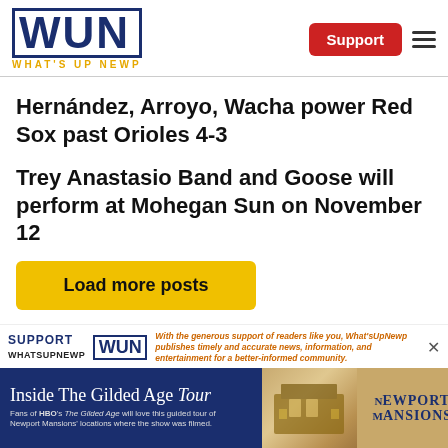WUN WHAT'S UP NEWP
Hernández, Arroyo, Wacha power Red Sox past Orioles 4-3
Trey Anastasio Band and Goose will perform at Mohegan Sun on November 12
Load more posts
SUPPORT WUN — With the generous support of readers like you, What'sUpNewp publishes timely and accurate news, information, and entertainment for a better-informed community.
[Figure (other): Advertisement for Inside The Gilded Age Tour at Newport Mansions]